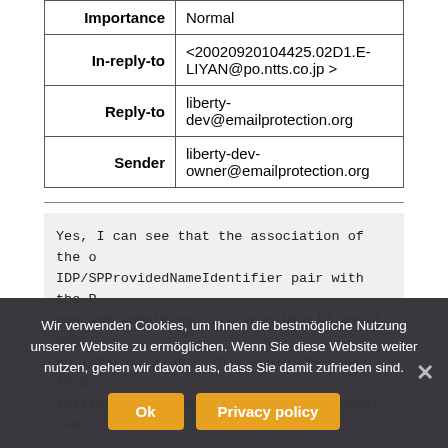| Field | Value |
| --- | --- |
| Importance | Normal |
| In-reply-to | <20020920104425.02D1.E-LIYAN@po.ntts.co.jp > |
| Reply-to | liberty-dev@emailprotection.org |
| Sender | liberty-dev-owner@emailprotection.org |
Yes, I can see that the association of the o IDP/SPProvidedNameIdentifier pair with the P one and something like your UserID would nee an internal link.  This would then need to b session object so as to allow subsequent 'se
Wir verwenden Cookies, um Ihnen die bestmögliche Nutzung unserer Website zu ermöglichen. Wenn Sie diese Website weiter nutzen, gehen wir davon aus, dass Sie damit zufrieden sind.